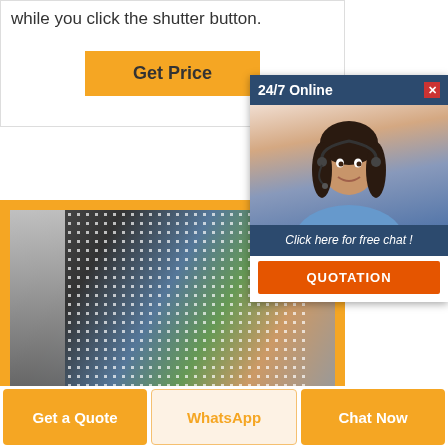while you click the shutter button.
Get Price
[Figure (photo): Close-up photo of a perforated LED screen mesh with colorful background visible through holes; displayed with orange border/frame]
[Figure (infographic): Chat popup overlay: '24/7 Online' header with X close button, photo of female customer service agent with headset, 'Click here for free chat!' text, and orange QUOTATION button]
Get a Quote
WhatsApp
Chat Now